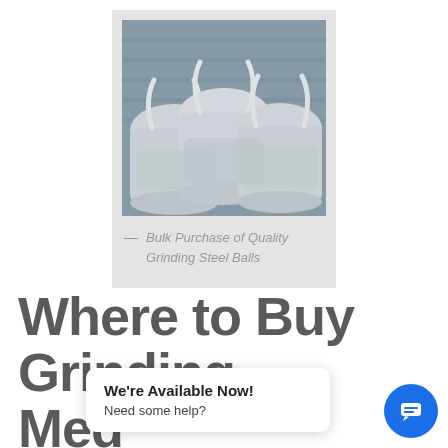[Figure (photo): Photo of large white bulk bags (FIBC/ton bags) filled with grinding steel balls, stacked inside a shipping container with grey corrugated metal walls.]
— Bulk Purchase of Quality Grinding Steel Balls
Where to Buy Grinding Med
We're Available Now! Need some help?